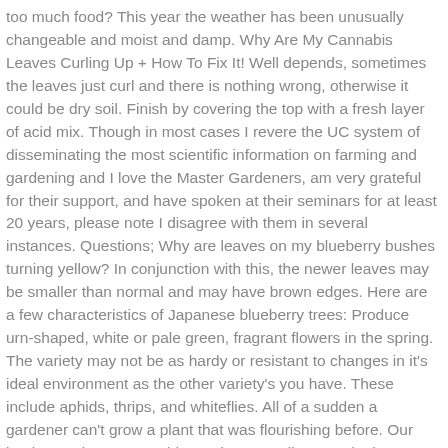too much food? This year the weather has been unusually changeable and moist and damp. Why Are My Cannabis Leaves Curling Up + How To Fix It! Well depends, sometimes the leaves just curl and there is nothing wrong, otherwise it could be dry soil. Finish by covering the top with a fresh layer of acid mix. Though in most cases I revere the UC system of disseminating the most scientific information on farming and gardening and I love the Master Gardeners, am very grateful for their support, and have spoken at their seminars for at least 20 years, please note I disagree with them in several instances. Questions; Why are leaves on my blueberry bushes turning yellow? In conjunction with this, the newer leaves may be smaller than normal and may have brown edges. Here are a few characteristics of Japanese blueberry trees: Produce urn-shaped, white or pale green, fragrant flowers in the spring. The variety may not be as hardy or resistant to changes in it's ideal environment as the other variety's you have. These include aphids, thrips, and whiteflies. All of a sudden a gardener can't grow a plant that was flourishing before. Our bottle may be 5 years old. Continue Reading, Gardening Question From Adriana: I added lime to my vegetable garden soil and I killed everything i planted last year. Any ideas on cause? However a general rule of thumb is approximately 1 inch per week, taking